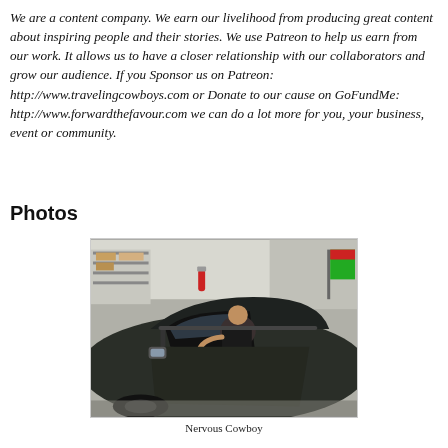We are a content company. We earn our livelihood from producing great content about inspiring people and their stories. We use Patreon to help us earn from our work. It allows us to have a closer relationship with our collaborators and grow our audience. If you Sponsor us on Patreon: http://www.travelingcowboys.com or Donate to our cause on GoFundMe: http://www.forwardthefavour.com we can do a lot more for you, your business, event or community.
Photos
[Figure (photo): A man in a black shirt sitting inside a dark-colored sports car with the door open, in a garage or workshop setting.]
Nervous Cowboy